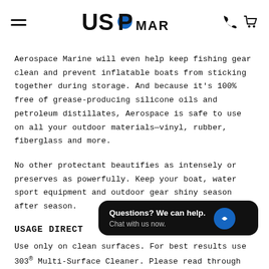USP MARINE (logo with navigation icons)
Aerospace Marine will even help keep fishing gear clean and prevent inflatable boats from sticking together during storage. And because it's 100% free of grease-producing silicone oils and petroleum distillates, Aerospace is safe to use on all your outdoor materials—vinyl, rubber, fiberglass and more.
No other protectant beautifies as intensely or preserves as powerfully. Keep your boat, water sport equipment and outdoor gear shiny season after season.
USAGE DIRECT
Use only on clean surfaces. For best results use 303® Multi-Surface Cleaner. Please read through the...